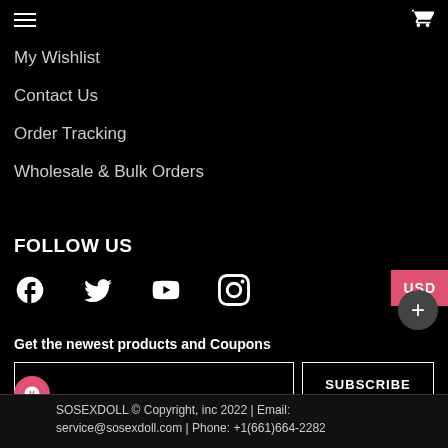My Wishlist
Contact Us
Order Tracking
Wholesale & Bulk Orders
FOLLOW US
[Figure (infographic): Social media icons: Facebook, Twitter, YouTube, Instagram]
Get the newest products and Coupons
SUBSCRIBE
SOSEXDOLL © Copyright, inc 2022 | Email: service@sosexdoll.com | Phone: +1(661)664-2282